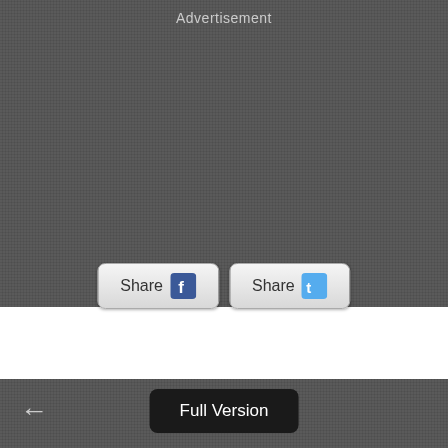Advertisement
[Figure (screenshot): Two share buttons: Share with Facebook icon, Share with Twitter icon]
←
Full Version